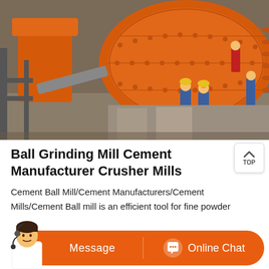[Figure (photo): Industrial ball grinding mill being installed at a construction site. A large orange cylindrical ball mill is prominent in the center. Workers in blue uniforms and yellow hard hats are working around the machinery. The setting appears to be a mining or cement manufacturing facility.]
Ball Grinding Mill Cement Manufacturer Crusher Mills
Cement Ball Mill/Cement Manufacturers/Cement Mills/Cement Ball mill is an efficient tool for fine powder grinding. The Ball Mill is used to grind many kinds of
[Figure (photo): Customer service representative (woman with headset) next to orange pill-shaped buttons reading 'Message' and 'Online Chat' with a chat bubble icon.]